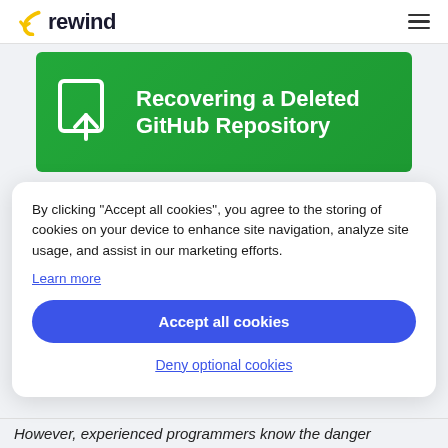rewind
[Figure (illustration): Green banner with white repository/upload icon and bold white text reading 'Recovering a Deleted GitHub Repository']
By clicking "Accept all cookies", you agree to the storing of cookies on your device to enhance site navigation, analyze site usage, and assist in our marketing efforts.
Learn more
Accept all cookies
Deny optional cookies
However, experienced programmers know the danger